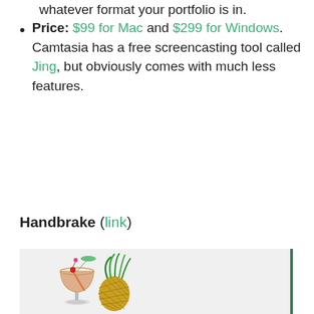whatever format your portfolio is in.
Price: $99 for Mac and $299 for Windows. Camtasia has a free screencasting tool called Jing, but obviously comes with much less features.
Handbrake (link)
[Figure (illustration): Handbrake application icon showing a tropical cocktail drink glass with a pineapple, on a light grey background with a green right border.]